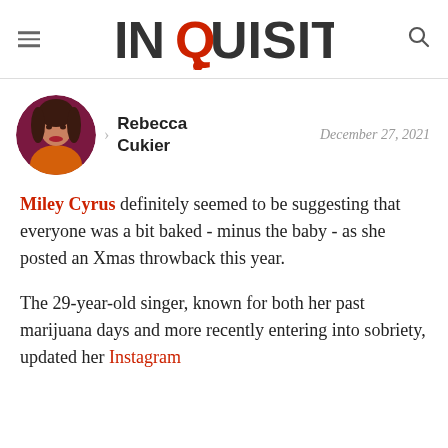INQUISITR
[Figure (photo): Circular profile photo of Rebecca Cukier, a woman with dark hair and red lipstick against a red/pink background]
Rebecca Cukier
December 27, 2021
Miley Cyrus definitely seemed to be suggesting that everyone was a bit baked - minus the baby - as she posted an Xmas throwback this year.
The 29-year-old singer, known for both her past marijuana days and more recently entering into sobriety, updated her Instagram